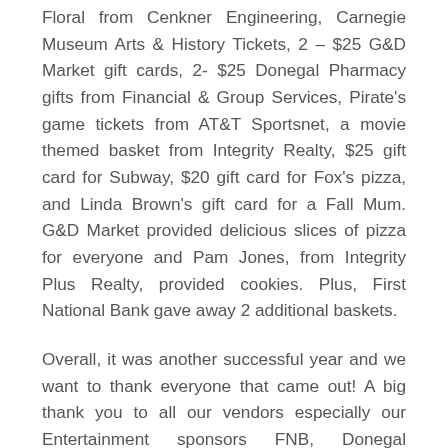Floral from Cenkner Engineering, Carnegie Museum Arts & History Tickets, 2 – $25 G&D Market gift cards, 2- $25 Donegal Pharmacy gifts from Financial & Group Services, Pirate's game tickets from AT&T Sportsnet, a movie themed basket from Integrity Realty, $25 gift card for Subway, $20 gift card for Fox's pizza, and Linda Brown's gift card for a Fall Mum. G&D Market provided delicious slices of pizza for everyone and Pam Jones, from Integrity Plus Realty, provided cookies. Plus, First National Bank gave away 2 additional baskets.
Overall, it was another successful year and we want to thank everyone that came out! A big thank you to all our vendors especially our Entertainment sponsors FNB, Donegal Pharmacy, Sarnelli's Corner, Mountain Pines Campground, and Living Treasure's Animal Park. Also thank you to our bronze sponsors Bullseye Firearms Gun Vault, Christian Family & Children's